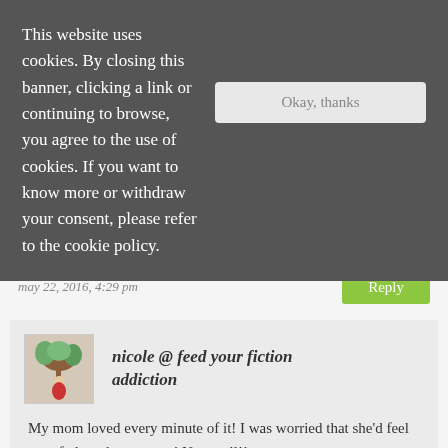This website uses cookies. By closing this banner, clicking a link or continuing to browse, you agree to the use of cookies. If you want to know more or withdraw your consent, please refer to the cookie policy.
of a book event. She would look so lost for.
may 22, 2016, 4:29 pm
Reply
nicole @ feed your fiction addiction
My mom loved every minute of it! I was worried that she'd feel out of place, but ... nope! Not at all!!
may 26, 2016, 8:24 pm
Reply